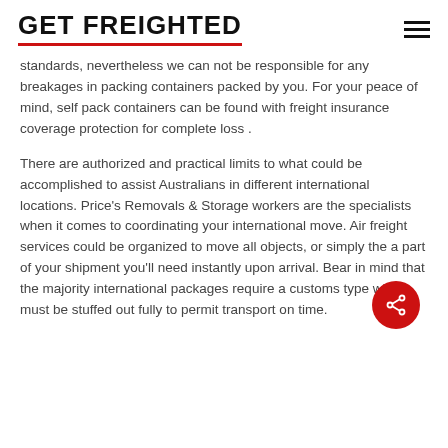GET FREIGHTED
standards, nevertheless we can not be responsible for any breakages in packing containers packed by you. For your peace of mind, self pack containers can be found with freight insurance coverage protection for complete loss .
There are authorized and practical limits to what could be accomplished to assist Australians in different international locations. Price's Removals & Storage workers are the specialists when it comes to coordinating your international move. Air freight services could be organized to move all objects, or simply the a part of your shipment you'll need instantly upon arrival. Bear in mind that the majority international packages require a customs type which must be stuffed out fully to permit transport on time.